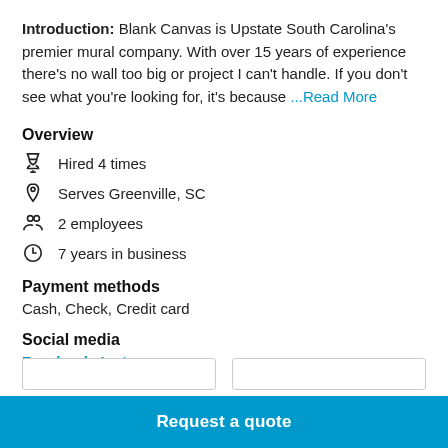Introduction: Blank Canvas is Upstate South Carolina's premier mural company. With over 15 years of experience there's no wall too big or project I can't handle. If you don't see what you're looking for, it's because ...Read More
Overview
Hired 4 times
Serves Greenville, SC
2 employees
7 years in business
Payment methods
Cash, Check, Credit card
Social media
Facebook, Instagram